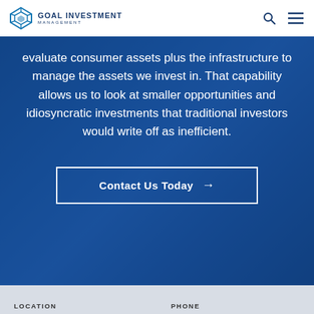GOAL INVESTMENT MANAGEMENT
evaluate consumer assets plus the infrastructure to manage the assets we invest in. That capability allows us to look at smaller opportunities and idiosyncratic investments that traditional investors would write off as inefficient.
Contact Us Today →
LOCATION    PHONE